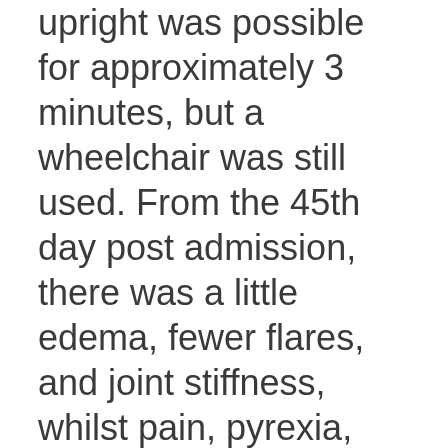upright was possible for approximately 3 minutes, but a wheelchair was still used. From the 45th day post admission, there was a little edema, fewer flares, and joint stiffness, whilst pain, pyrexia, and night pain were relieved. The patient was able to stand upright for about 10